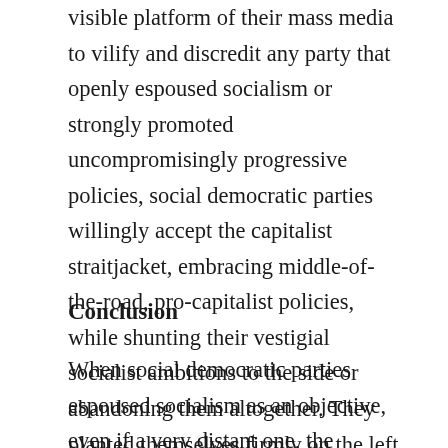visible platform of their mass media to vilify and discredit any party that openly espoused socialism or strongly promoted uncompromisingly progressive policies, social democratic parties willingly accept the capitalist straitjacket, embracing middle-of-the-road, pro-capitalist policies, while shunting their vestigial socialist ambitions to the side or abandoning them altogether. They planted themselves firmly on the left boundary of the possible, the possible being defined by conservative forces.
Conclusion
When social democratic parties espoused socialism as an objective, even if a very distant one, the socialism they espoused was to be achieved with the permission